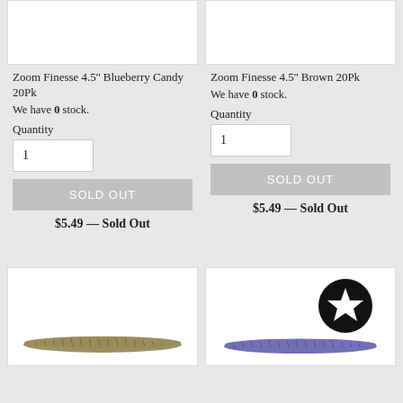[Figure (photo): Product image box (white) for Zoom Finesse 4.5'' Blueberry Candy 20Pk, top-left]
[Figure (photo): Product image box (white) for Zoom Finesse 4.5'' Brown 20Pk, top-right]
Zoom Finesse 4.5'' Blueberry Candy 20Pk
We have 0 stock.
Quantity
1
SOLD OUT
$5.49 — Sold Out
Zoom Finesse 4.5'' Brown 20Pk
We have 0 stock.
Quantity
1
SOLD OUT
$5.49 — Sold Out
[Figure (photo): Product image showing a olive/brown fishing worm lure, bottom-left card]
[Figure (photo): Product image showing a purple/blue fishing worm lure with a black circle star badge, bottom-right card]